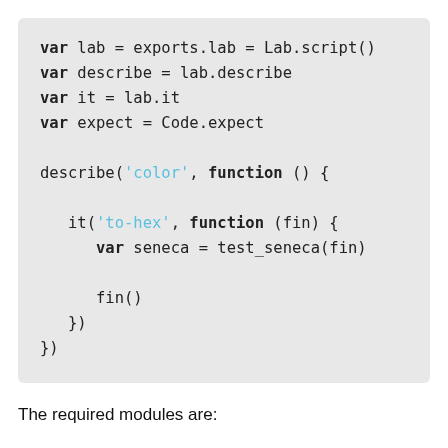[Figure (screenshot): Code block showing JavaScript test setup using Lab.script(), lab.describe, lab.it, Code.expect, describe('color', function), it('to-hex', function) with var seneca = test_seneca(fin) and fin() calls.]
The required modules are: